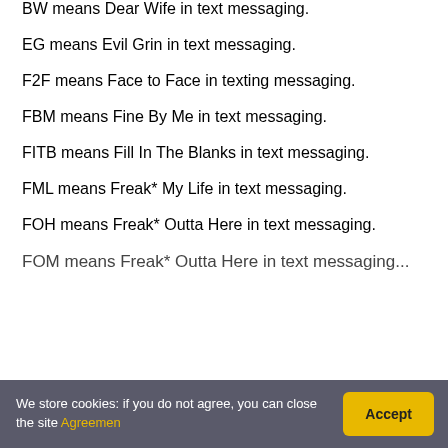BW means Dear Wife in text messaging.
EG means Evil Grin in text messaging.
F2F means Face to Face in texting messaging.
FBM means Fine By Me in text messaging.
FITB means Fill In The Blanks in text messaging.
FML means Freak* My Life in text messaging.
FOH means Freak* Outta Here in text messaging.
FOM means Freak* Outta Here in text messaging.
We store cookies: if you do not agree, you can close the site Agreemen
Accept